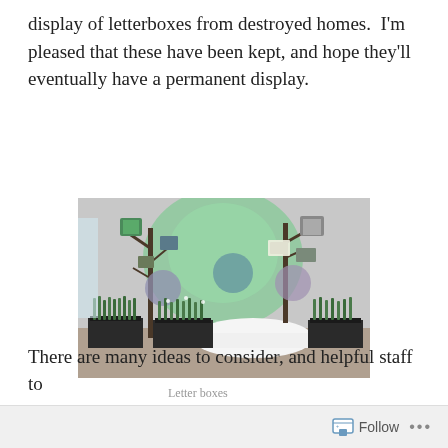display of letterboxes from destroyed homes.  I'm pleased that these have been kept, and hope they'll eventually have a permanent display.
[Figure (photo): Indoor museum/exhibition display of letterboxes from destroyed homes, mounted on tree-like structures surrounded by plants and grass. Green lighting illuminates the display with circular information panels.]
Letter boxes
There are many ideas to consider, and helpful staff to
Follow ...